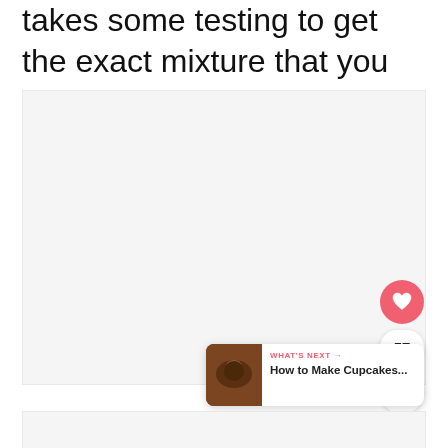takes some testing to get the exact mixture that you want to achieve.
[Figure (photo): Large light gray placeholder image area in the center of the page]
[Figure (infographic): UI overlay with heart/like button (pink circle with heart icon), count of 57, and share button (circle with share icon)]
[Figure (infographic): What's Next card showing a chocolate cupcake thumbnail with label 'WHAT'S NEXT →' and title 'How to Make Cupcakes...']
[Figure (photo): Bottom strip — partially visible image area at the very bottom of the page]